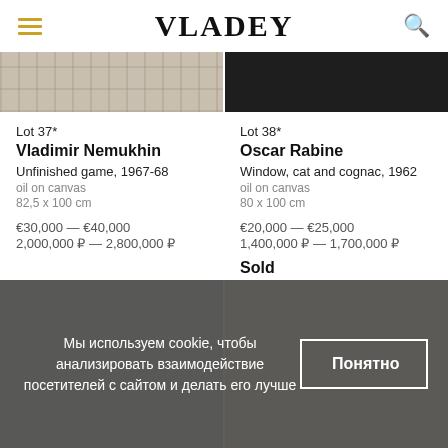VLADEY
[Figure (photo): Top strip: left half shows a textured/abstract painting (light tones), right half shows a dark painting on black background]
Lot 37*
Vladimir Nemukhin
Unfinished game, 1967-68
oil on canvas
82,5 x 100 cm

€30,000 — €40,000
2,000,000 ₽ — 2,800,000 ₽
Lot 38*
Oscar Rabine
Window, cat and cognac, 1962
oil on canvas
80 x 100 cm

€20,000 — €25,000
1,400,000 ₽ — 1,700,000 ₽

Sold
[Figure (photo): Bottom row: two artwork images partially visible behind cookie consent banner]
Мы используем cookie, чтобы анализировать взаимодействие посетителей с сайтом и делать его лучше
Понятно